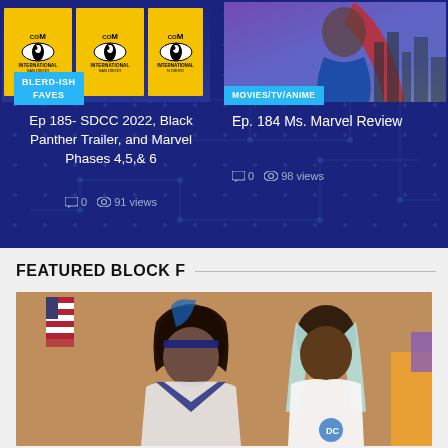[Figure (screenshot): SDCC 2022 Comic-Con International logo repeated, with BLERD-ISH FAVES badge]
Ep 185- SDCC 2022, Black Panther Trailer, and Marvel Phases 4,5,& 6
0  91 views
[Figure (photo): Ms. Marvel character in red superhero costume against city skyline]
Ep. 184 Ms. Marvel Review
0  98 views
FEATURED BLOCK F
[Figure (photo): Two women in cosplay costumes posing together, one with blue-black hair and one with blue-white braids]